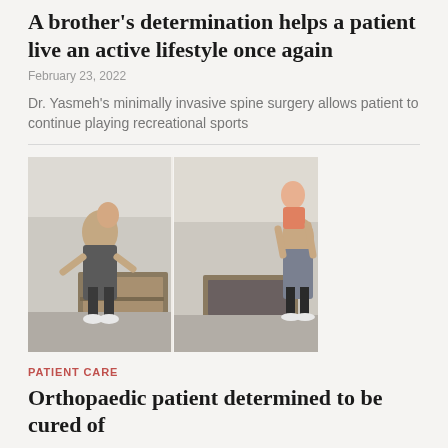A brother's determination helps a patient live an active lifestyle once again
February 23, 2022
Dr. Yasmeh's minimally invasive spine surgery allows patient to continue playing recreational sports
[Figure (photo): Two side-by-side photos of a woman holding children — left photo shows woman with two children in a home living room setting, right photo shows woman lifting a young child overhead in the same room]
PATIENT CARE
Orthopaedic patient determined to be cured of